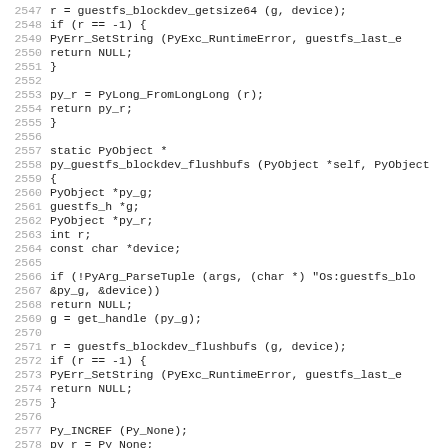Source code listing, lines 2547-2578, C code for Python guestfs bindings
2547    r = guestfs_blockdev_getsize64 (g, device);
2548    if (r == -1) {
2549      PyErr_SetString (PyExc_RuntimeError, guestfs_last_e
2550      return NULL;
2551    }
2552
2553    py_r = PyLong_FromLongLong (r);
2554    return py_r;
2555 }
2556
2557 static PyObject *
2558 py_guestfs_blockdev_flushbufs (PyObject *self, PyObject
2559 {
2560    PyObject *py_g;
2561    guestfs_h *g;
2562    PyObject *py_r;
2563    int r;
2564    const char *device;
2565
2566    if (!PyArg_ParseTuple (args, (char *) "Os:guestfs_blo
2567                              &py_g, &device))
2568      return NULL;
2569    g = get_handle (py_g);
2570
2571    r = guestfs_blockdev_flushbufs (g, device);
2572    if (r == -1) {
2573      PyErr_SetString (PyExc_RuntimeError, guestfs_last_e
2574      return NULL;
2575    }
2576
2577    Py_INCREF (Py_None);
2578    py_r = Py_None;